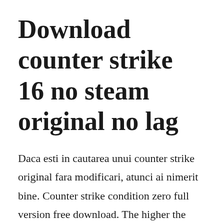Download counter strike 16 no steam original no lag
Daca esti in cautarea unui counter strike original fara modificari, atunci ai nimerit bine. Counter strike condition zero full version free download. The higher the games fps, the faster you see the enemy. Source cs